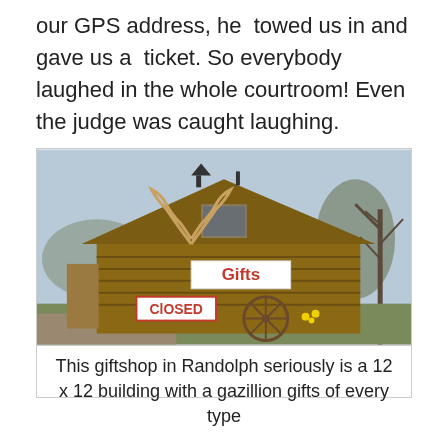our GPS address, he towed us in and gave us a ticket. So everybody laughed in the whole courtroom! Even the judge was caught laughing.
[Figure (photo): Photo of a rustic log cabin building with a 'Gifts' sign on the front and a 'CLOSED' sign below it. There are antlers mounted on the facade, a wagon wheel and various items in front, and bare trees visible on the right side.]
This giftshop in Randolph seriously is a 12 x 12 building with a gazillion gifts of every type